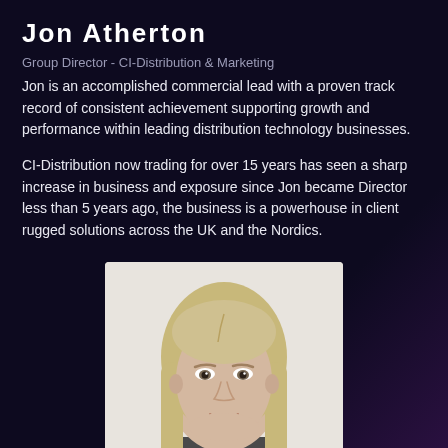Jon Atherton
Group Director - CI-Distribution & Marketing
Jon is an accomplished commercial lead with a proven track record of consistent achievement supporting growth and performance within leading distribution technology businesses.
CI-Distribution now trading for over 15 years has seen a sharp increase in business and exposure since Jon became Director less than 5 years ago, the business is a powerhouse in client rugged solutions across the UK and the Nordics.
[Figure (photo): Portrait photo of a blonde woman smiling, photographed against a light background]